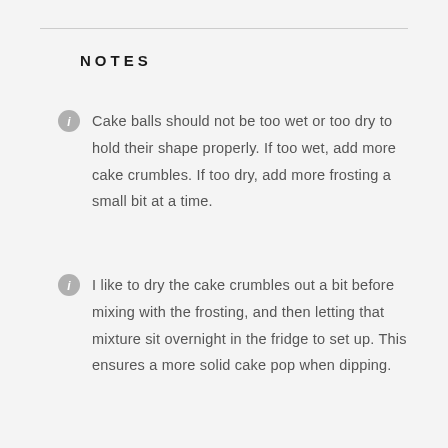NOTES
Cake balls should not be too wet or too dry to hold their shape properly. If too wet, add more cake crumbles. If too dry, add more frosting a small bit at a time.
I like to dry the cake crumbles out a bit before mixing with the frosting, and then letting that mixture sit overnight in the fridge to set up. This ensures a more solid cake pop when dipping.